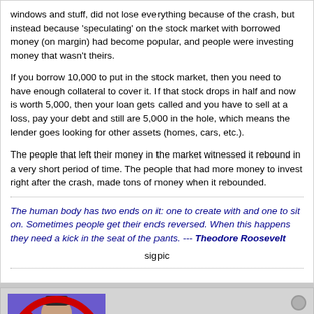windows and stuff, did not lose everything because of the crash, but instead because 'speculating' on the stock market with borrowed money (on margin) had become popular, and people were investing money that wasn't theirs.
If you borrow 10,000 to put in the stock market, then you need to have enough collateral to cover it. If that stock drops in half and now is worth 5,000, then your loan gets called and you have to sell at a loss, pay your debt and still are 5,000 in the hole, which means the lender goes looking for other assets (homes, cars, etc.).
The people that left their money in the market witnessed it rebound in a very short period of time. The people that had more money to invest right after the crash, made tons of money when it rebounded.
The human body has two ends on it: one to create with and one to sit on. Sometimes people get their ends reversed. When this happens they need a kick in the seat of the pants. --- Theodore Roosevelt
sigpic
[Figure (photo): Avatar image showing a person with a red circle-and-slash prohibition symbol overlaid]